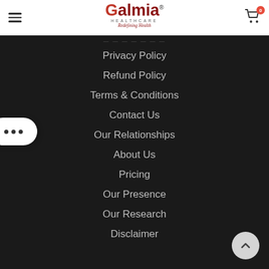Galmia Healthcare — Redefining Health
Privacy Policy
Refund Policy
Terms & Conditions
Contact Us
Our Relationships
About Us
Pricing
Our Presence
Our Research
Disclaimer